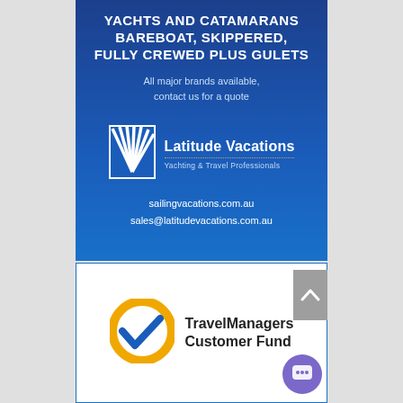[Figure (infographic): Latitude Vacations advertisement banner with dark blue background. Top section shows bold white text about yachts and catamarans, tagline about brands, the Latitude Vacations logo with sun/fan icon, and contact URLs. Bottom section shows TravelManagers Customer Fund logo with golden circle and blue checkmark.]
YACHTS AND CATAMARANS
BAREBOAT, SKIPPERED,
FULLY CREWED PLUS GULETS
All major brands available,
contact us for a quote
Latitude Vacations
Yachting & Travel Professionals
sailingvacations.com.au
sales@latitudevacations.com.au
[Figure (logo): TravelManagers Customer Fund logo: gold/orange circle with blue checkmark inside, next to bold text 'TravelManagers Customer Fund']